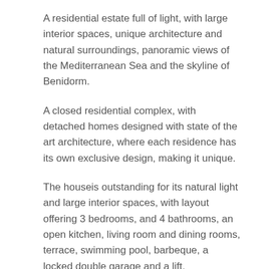A residential estate full of light, with large interior spaces, unique architecture and natural surroundings, panoramic views of the Mediterranean Sea and the skyline of Benidorm.
A closed residential complex, with detached homes designed with state of the art architecture, where each residence has its own exclusive design, making it unique.
The houseis outstanding for its natural light and large interior spaces, with layout offering 3 bedrooms, and 4 bathrooms, an open kitchen, living room and dining rooms, terrace, swimming pool, barbeque, a locked double garage and a lift.
With direct access to the motorway, 10 Km from Benidorm, only 50 Km from Alicante airport and